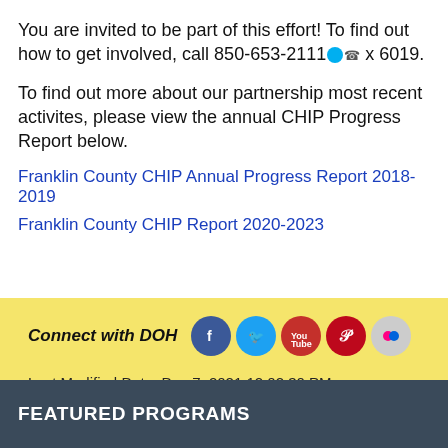You are invited to be part of this effort! To find out how to get involved, call 850-653-2111 x 6019.
To find out more about our partnership most recent activites, please view the annual CHIP Progress Report below.
Franklin County CHIP Annual Progress Report 2018-2019
Franklin County CHIP Report 2020-2023
[Figure (infographic): Connect with DOH social media icons row: Facebook, Twitter, YouTube, Pinterest, Flickr]
Last Modified Date: Dec 7, 2021 12:02:30 PM
Last Reviewed Date: Dec 7, 2021 12:02:30 PM
FEATURED PROGRAMS